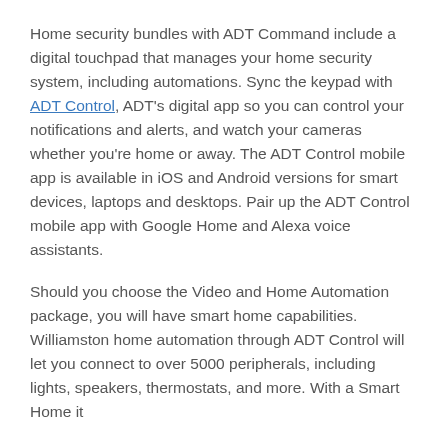Home security bundles with ADT Command include a digital touchpad that manages your home security system, including automations. Sync the keypad with ADT Control, ADT's digital app so you can control your notifications and alerts, and watch your cameras whether you're home or away. The ADT Control mobile app is available in iOS and Android versions for smart devices, laptops and desktops. Pair up the ADT Control mobile app with Google Home and Alexa voice assistants.
Should you choose the Video and Home Automation package, you will have smart home capabilities. Williamston home automation through ADT Control will let you connect to over 5000 peripherals, including lights, speakers, thermostats, and more. With a Smart Home it